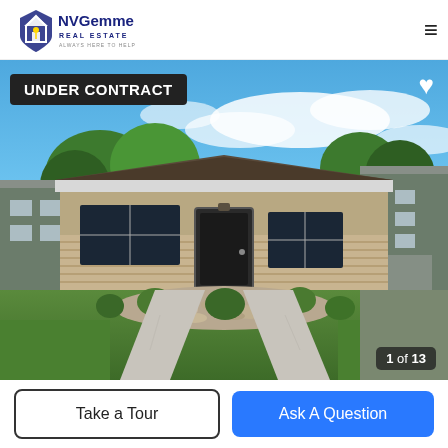NVGemme Real Estate
[Figure (photo): Exterior photo of a single-story residential home under a blue sky with white clouds. The house has a tan/beige wood panel lower facade and dark roof. There are two concrete walkways leading to the front door, with desert landscaping (rocks and small shrubs) in between. Neighboring multi-story buildings are visible on both sides.]
UNDER CONTRACT
1 of 13
Take a Tour
Ask A Question